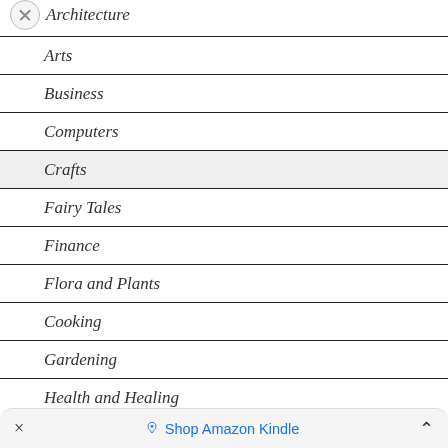Architecture
Arts
Business
Computers
Crafts
Fairy Tales
Finance
Flora and Plants
Cooking
Gardening
Health and Healing
× Shop Amazon Kindle ^